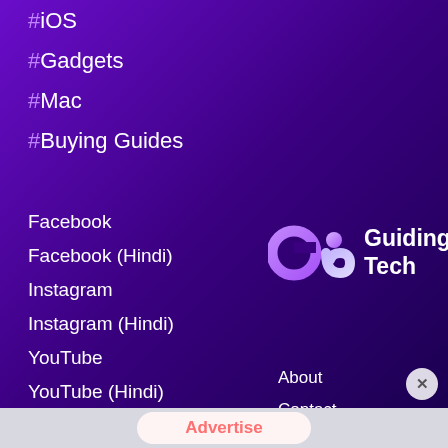#iOS
#Gadgets
#Mac
#Buying Guides
Facebook
Facebook (Hindi)
Instagram
Instagram (Hindi)
YouTube
YouTube (Hindi)
Twitter
Twitter (Hindi)
[Figure (logo): Guiding Tech logo - stylized GT letters in purple/lavender gradient]
Guiding Tech
About
Contact
Terms of Use
Privacy Policy
Advertise